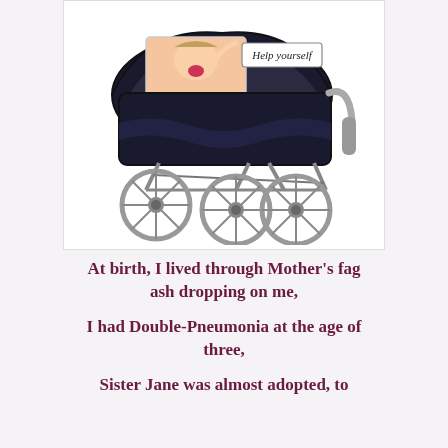[Figure (illustration): A classic black vintage baby pram/perambulator with large spoked wheels, with a comic-style image of a screaming baby visible in the carriage, and a label reading 'Help yourself' attached to the side]
At birth, I lived through Mother's fag ash dropping on me,
I had Double-Pneumonia at the age of three,
Sister Jane was almost adopted, to